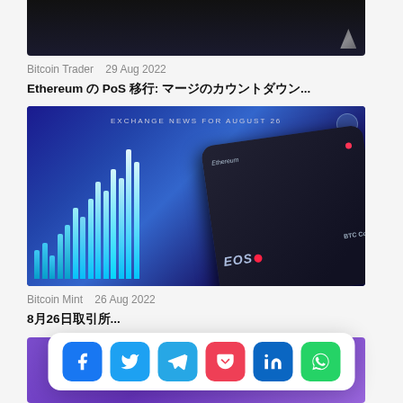[Figure (photo): Dark background image, partial view of top article image]
Bitcoin Trader   29 Aug 2022
Ethereum の PoS 移行: マージのカウントダウン...
[Figure (photo): Exchange news for August 26 - crypto trading chart with blue candlestick bars and a smartphone screen showing Ethereum, EOS, BTC coins]
Bitcoin Mint   26 Aug 2022
8月26日取引所...
[Figure (photo): Purple background with 'coin' text visible, partial view of third article image]
[Figure (infographic): Social sharing bar with Facebook, Twitter, Telegram, Pocket, LinkedIn, WhatsApp icons]